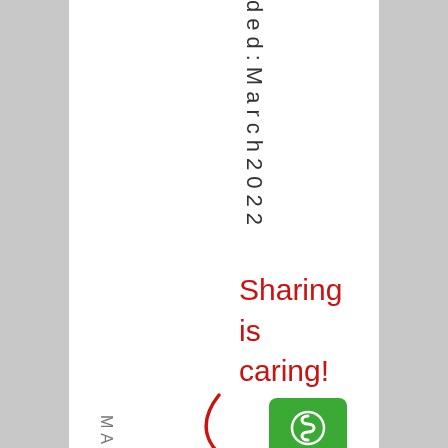d e d : M a r c h 2 0 2 2
Sharing is caring!
[Figure (illustration): Red handwritten-style arrow pointing down-right toward a green share/Scribd icon button, with the text 'Sharing is caring!' above it in red cursive font]
M A R